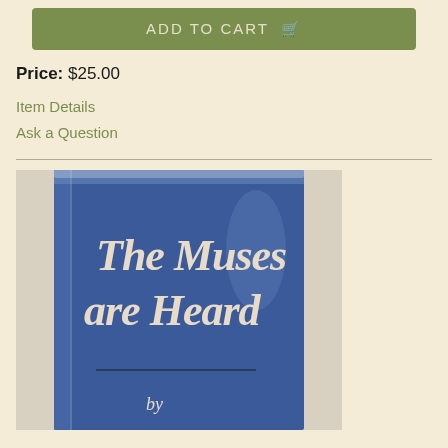ADD TO CART
Price: $25.00
Item Details
Ask a Question
[Figure (photo): Photo of a hardcover book with blue dust jacket titled 'The Muses are Heard']